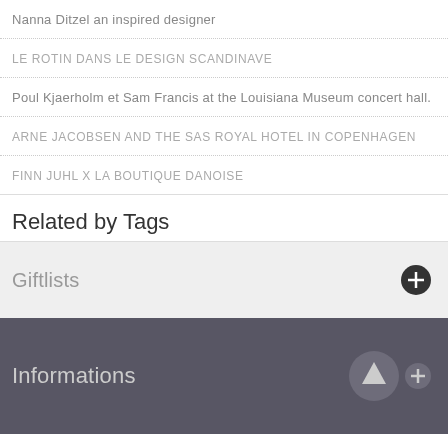Nanna Ditzel an inspired designer
LE ROTIN DANS LE DESIGN SCANDINAVE
Poul Kjaerholm et Sam Francis at the Louisiana Museum concert hall.
ARNE JACOBSEN AND THE SAS ROYAL HOTEL IN COPENHAGEN
FINN JUHL X LA BOUTIQUE DANOISE
Related by Tags
Giftlists
Informations